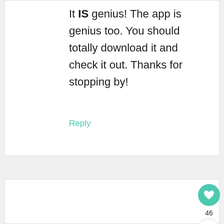It IS genius! The app is genius too. You should totally download it and check it out. Thanks for stopping by!
Reply
[Figure (illustration): Gray placeholder avatar with circle head and shoulder shape]
CAROL COSTELLO SAYS